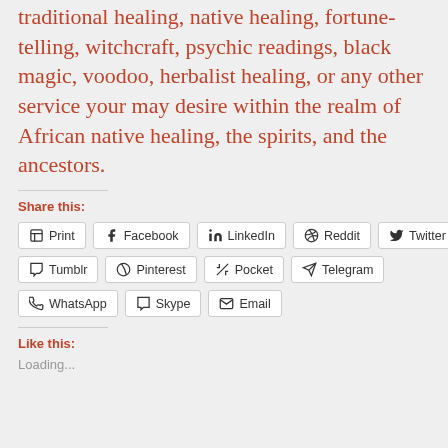traditional healing, native healing, fortune-telling, witchcraft, psychic readings, black magic, voodoo, herbalist healing, or any other service your may desire within the realm of African native healing, the spirits, and the ancestors.
Share this:
Print | Facebook | LinkedIn | Reddit | Twitter | Tumblr | Pinterest | Pocket | Telegram | WhatsApp | Skype | Email
Like this:
Loading...